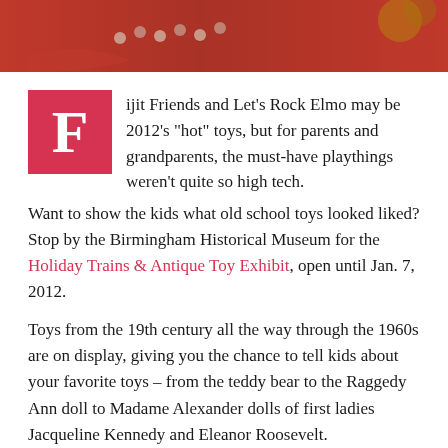[Figure (photo): Top portion of a photo showing red toys/items and round objects on a light background, cropped at the top of the page]
Fijit Friends and Let's Rock Elmo may be 2012's "hot" toys, but for parents and grandparents, the must-have playthings weren't quite so high tech. Want to show the kids what old school toys looked liked? Stop by the Birmingham Historical Museum for the Holiday Trains & Antique Toy Exhibit, open until Jan. 7, 2012.
Toys from the 19th century all the way through the 1960s are on display, giving you the chance to tell kids about your favorite toys – from the teddy bear to the Raggedy Ann doll to Madame Alexander dolls of first ladies Jacqueline Kennedy and Eleanor Roosevelt.